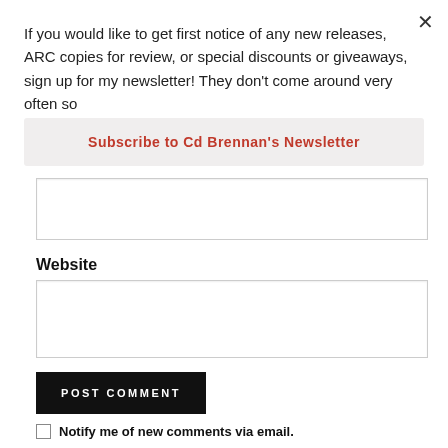×
If you would like to get first notice of any new releases, ARC copies for review, or special discounts or giveaways, sign up for my newsletter! They don't come around very often so
Subscribe to Cd Brennan's Newsletter
Website
POST COMMENT
Notify me of new comments via email.
Notify me of new posts via email.